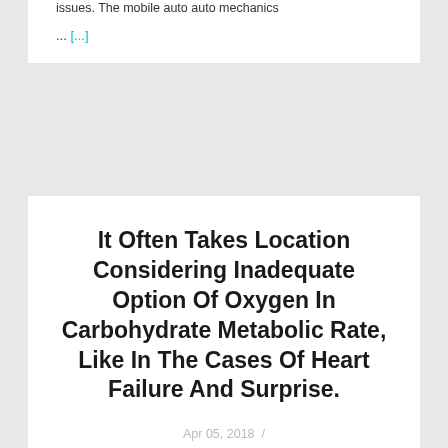issues. The mobile auto auto mechanics
... [...]
It Often Takes Location Considering Inadequate Option Of Oxygen In Carbohydrate Metabolic Rate, Like In The Cases Of Heart Failure And Surprise.
Apr 05, 2018  /